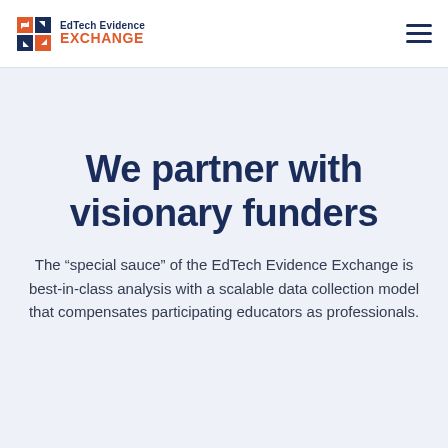EdTech Evidence EXCHANGE
We partner with visionary funders
The “special sauce” of the EdTech Evidence Exchange is best-in-class analysis with a scalable data collection model that compensates participating educators as professionals.
[Figure (logo): Overdeck Family Foundation logo (partial, cropped at bottom)]
[Figure (logo): University of Virginia logo with building icon]